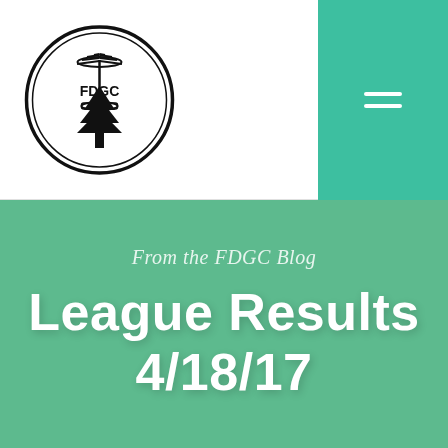[Figure (logo): FDGC disc golf club logo: circular emblem with disc golf basket on top and tree below, text FDGC inside circle]
[Figure (other): Hamburger menu icon (three horizontal white lines) on teal background in top right corner]
From the FDGC Blog
League Results 4/18/17